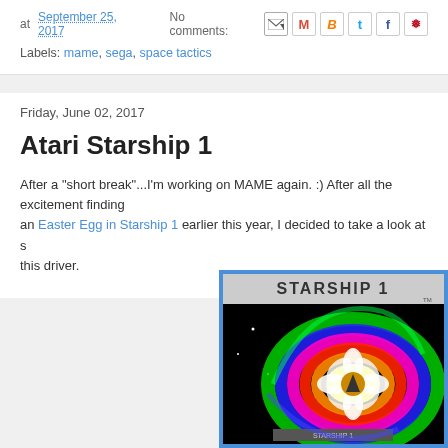at September 25, 2017   No comments:
Labels: mame, sega, space tactics
Friday, June 02, 2017
Atari Starship 1
After a "short break"...I'm working on MAME again. :) After all the excitement finding an Easter Egg in Starship 1 earlier this year, I decided to take a look at some bugs with this driver.
[Figure (screenshot): Screenshot of Atari Starship 1 arcade game title screen showing colorful psychedelic swirling design with the STARSHIP 1 logo and a flower-like pattern in bright colors on black background]